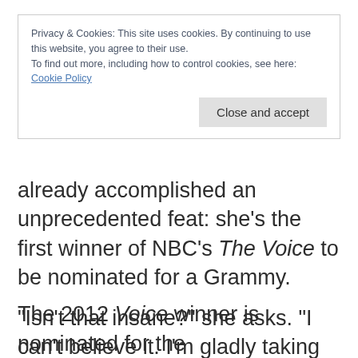Privacy & Cookies: This site uses cookies. By continuing to use this website, you agree to their use.
To find out more, including how to control cookies, see here:
Cookie Policy
Close and accept
already accomplished an unprecedented feat: she’s the first winner of NBC’s The Voice to be nominated for a Grammy.
“Isn’t that insane?” she asks. “I can’t believe it. I’m gladly taking on that record right there, and I have to thank The Voice for
The 2012 Voice winner is nominated for the